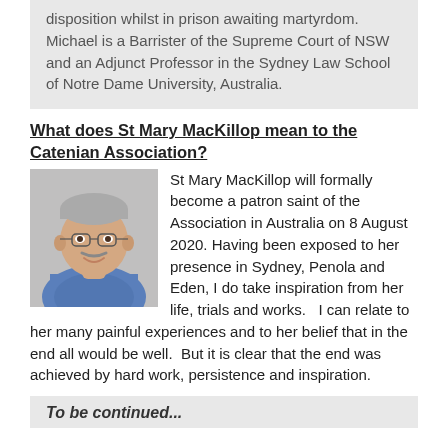disposition whilst in prison awaiting martyrdom. Michael is a Barrister of the Supreme Court of NSW and an Adjunct Professor in the Sydney Law School of Notre Dame University, Australia.
What does St Mary MacKillop mean to the Catenian Association?
[Figure (photo): Portrait photo of an older man with grey hair, glasses, and a moustache, smiling, wearing a blue patterned shirt.]
St Mary MacKillop will formally become a patron saint of the Association in Australia on 8 August 2020. Having been exposed to her presence in Sydney, Penola and Eden, I do take inspiration from her life, trials and works. I can relate to her many painful experiences and to her belief that in the end all would be well. But it is clear that the end was achieved by hard work, persistence and inspiration.
To be continued...